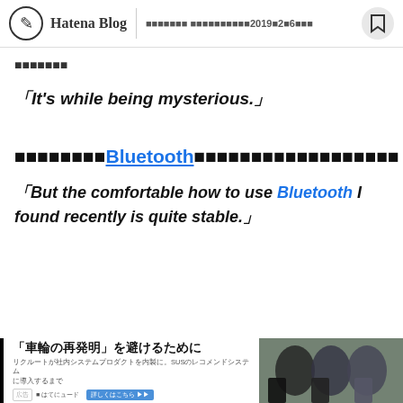Hatena Blog | ミスの報告 最終更新2019年2月6日ごろ
ミスの報告
「It's while being mysterious.」
でも最近見つけた快適なBluetoothの使い方は結構安定してるんですよ
「But the comfortable how to use Bluetooth I found recently is quite stable.」
[Figure (infographic): Advertisement banner: 「車輪の再発明」を避けるために - recruiting ad with photo of people]